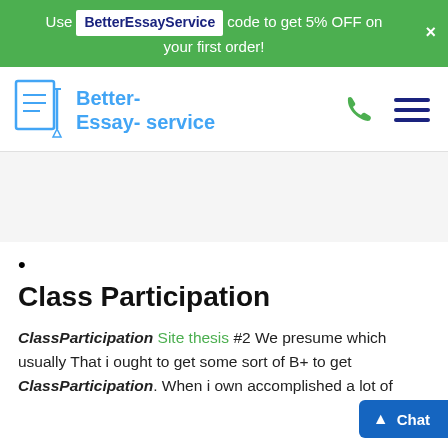Use BetterEssayService code to get 5% OFF on your first order!
[Figure (logo): Better-Essay-service logo with document and pen icon in light blue, alongside the site name in blue text. Phone icon and hamburger menu icon on the right.]
•
Class Participation
ClassParticipation Site thesis #2 We presume which usually That i ought to get some sort of B+ to get ClassParticipation. When i own accomplished a lot of